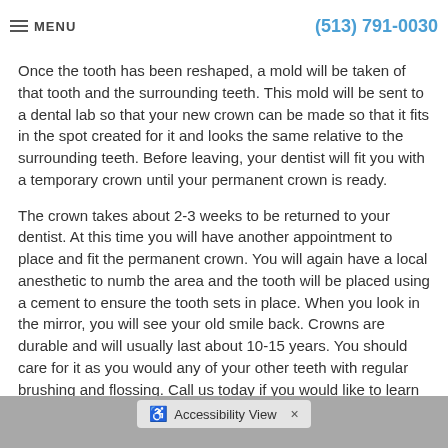MENU | (513) 791-0030
Once the tooth has been reshaped, a mold will be taken of that tooth and the surrounding teeth. This mold will be sent to a dental lab so that your new crown can be made so that it fits in the spot created for it and looks the same relative to the surrounding teeth. Before leaving, your dentist will fit you with a temporary crown until your permanent crown is ready.
The crown takes about 2-3 weeks to be returned to your dentist. At this time you will have another appointment to place and fit the permanent crown. You will again have a local anesthetic to numb the area and the tooth will be placed using a cement to ensure the tooth sets in place. When you look in the mirror, you will see your old smile back. Crowns are durable and will usually last about 10-15 years. You should care for it as you would any of your other teeth with regular brushing and flossing. Call us today if you would like to learn more about how crowns can help restore your smile.
Accessibility View  ×